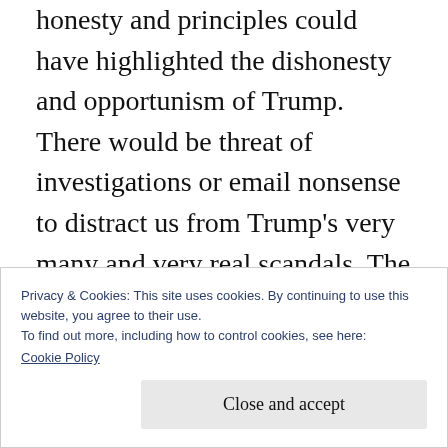honesty and principles could have highlighted the dishonesty and opportunism of Trump. There would be threat of investigations or email nonsense to distract us from Trump's very many and very real scandals. The rise of Trump has debunked a lot of the political conventional wisdom like the importance of moderation and political endorsements. Perhaps he could have beaten Trump, won back Congress and implemented the progressive policies that America so desperately needs.
Privacy & Cookies: This site uses cookies. By continuing to use this website, you agree to their use.
To find out more, including how to control cookies, see here:
Cookie Policy
Close and accept